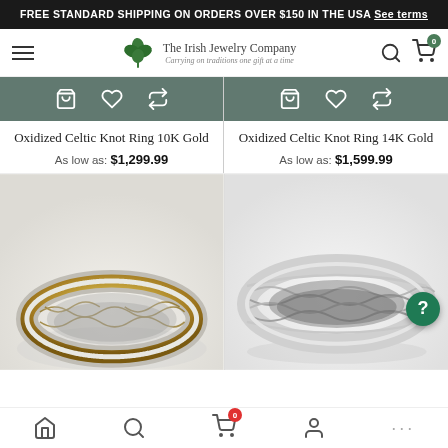FREE STANDARD SHIPPING ON ORDERS OVER $150 IN THE USA See terms
[Figure (screenshot): The Irish Jewelry Company navigation bar with shamrock logo, hamburger menu, search and cart icons]
[Figure (screenshot): Two product cards side by side with action bars (cart, wishlist, compare icons) in grey]
Oxidized Celtic Knot Ring 10K Gold
As low as: $1,299.99
Oxidized Celtic Knot Ring 14K Gold
As low as: $1,599.99
[Figure (photo): Two ring product photos: left shows a Celtic knot ring in white and yellow gold, right shows a silver braided rope ring]
Bottom navigation bar with home, search, cart (0), account, and more icons